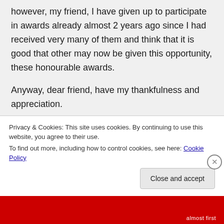however, my friend, I have given up to participate in awards already almost 2 years ago since I had received very many of them and think that it is good that other may now be given this opportunity, these honourable awards.

Anyway, dear friend, have my thankfulness and appreciation.
A big hug to you
Didi
Privacy & Cookies: This site uses cookies. By continuing to use this website, you agree to their use.
To find out more, including how to control cookies, see here: Cookie Policy